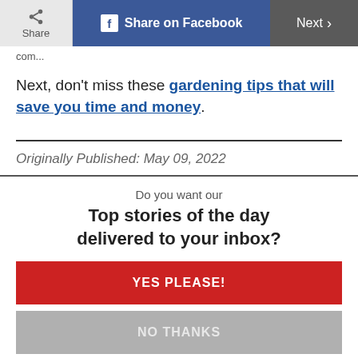Share | Share on Facebook | Next
com...
Next, don't miss these gardening tips that will save you time and money.
Originally Published: May 09, 2022
Do you want our
Top stories of the day delivered to your inbox?
YES PLEASE!
NO THANKS